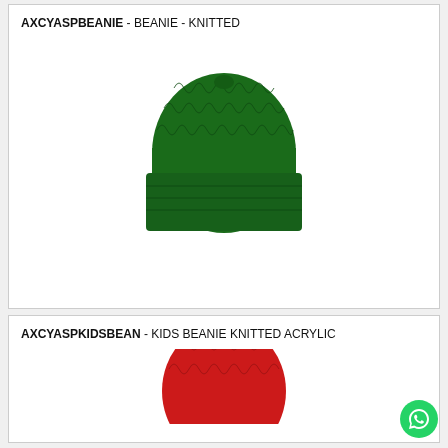AXCYASPBEANIE - BEANIE - KNITTED
[Figure (photo): Green knitted beanie hat with folded brim, shown on white background]
AXCYASPKIDSBEAN - KIDS BEANIE KNITTED ACRYLIC
[Figure (photo): Red knitted kids beanie hat, shown on white background, partially visible]